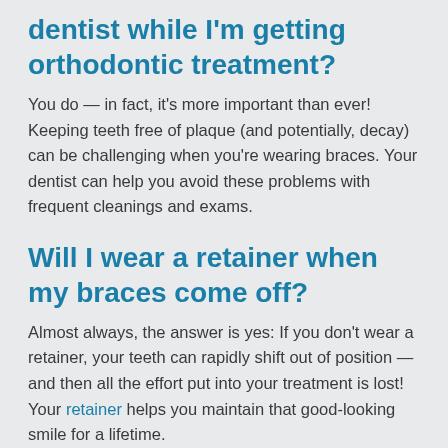dentist while I'm getting orthodontic treatment?
You do — in fact, it's more important than ever! Keeping teeth free of plaque (and potentially, decay) can be challenging when you're wearing braces. Your dentist can help you avoid these problems with frequent cleanings and exams.
Will I wear a retainer when my braces come off?
Almost always, the answer is yes: If you don't wear a retainer, your teeth can rapidly shift out of position — and then all the effort put into your treatment is lost! Your retainer helps you maintain that good-looking smile for a lifetime.
Is orthodontic care...